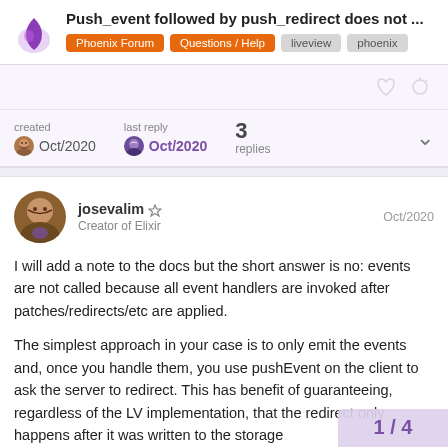Push_event followed by push_redirect does not ...
Phoenix Forum  Questions / Help  liveview  phoenix
created Oct/2020  last reply Oct/2020  3 replies
josevalim  Creator of Elixir  Oct/2020
I will add a note to the docs but the short answer is no: events are not called because all event handlers are invoked after patches/redirects/etc are applied.
The simplest approach in your case is to only emit the events and, once you handle them, you use pushEvent on the client to ask the server to redirect. This has benefit of guaranteeing, regardless of the LV implementation, that the redirect only happens after it was written to the storage
1 / 4